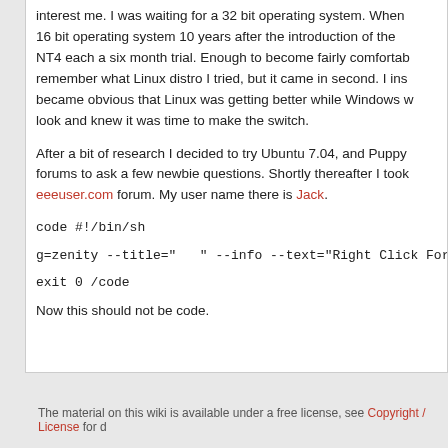interest me. I was waiting for a 32 bit operating system. When a 16 bit operating system 10 years after the introduction of the NT4 each a six month trial. Enough to become fairly comfortable. I remember what Linux distro I tried, but it came in second. I ins became obvious that Linux was getting better while Windows w look and knew it was time to make the switch.
After a bit of research I decided to try Ubuntu 7.04, and Puppy forums to ask a few newbie questions. Shortly thereafter I took eeeuser.com forum. My user name there is Jack.
code #!/bin/sh
g=zenity --title="   " --info --text="Right Click For
exit 0 /code
Now this should not be code.
The material on this wiki is available under a free license, see Copyright / License for d